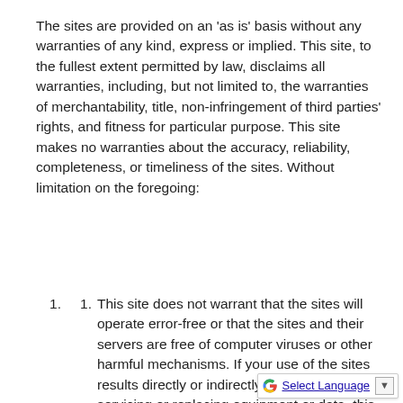The sites are provided on an 'as is' basis without any warranties of any kind, express or implied. This site, to the fullest extent permitted by law, disclaims all warranties, including, but not limited to, the warranties of merchantability, title, non-infringement of third parties' rights, and fitness for particular purpose. This site makes no warranties about the accuracy, reliability, completeness, or timeliness of the sites. Without limitation on the foregoing:
This site does not warrant that the sites will operate error-free or that the sites and their servers are free of computer viruses or other harmful mechanisms. If your use of the sites results directly or indirectly in the need for servicing or replacing equipment or data, this site is not responsible for those costs.
This site makes no represent...